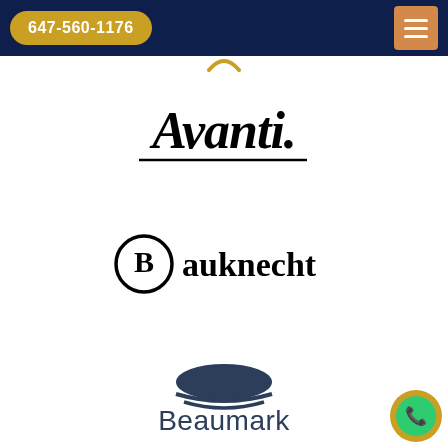647-560-1176
[Figure (logo): Avanti brand logo in stylized script font with underline]
[Figure (logo): Bauknecht brand logo with circular B emblem and bold serif text]
[Figure (logo): Beaumark brand logo with dome/arch graphic above the name in dark blue sans-serif]